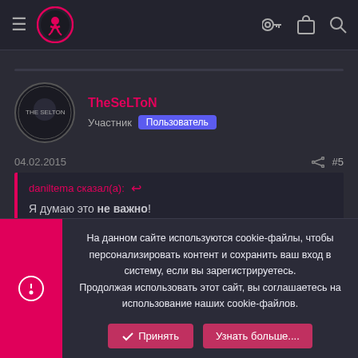TheSeLToN forum page header with logo and navigation icons
TheSeLToN
Участник Пользователь
04.02.2015  #5
daniltema сказал(а): ↩
Я думаю это не важно!
На данном сайте используются cookie-файлы, чтобы персонализировать контент и сохранить ваш вход в систему, если вы зарегистрируетесь.
Продолжая использовать этот сайт, вы соглашаетесь на использование наших cookie-файлов.
✔ Принять   Узнать больше....